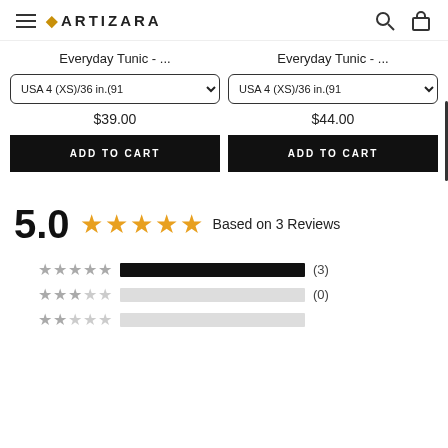ARTIZARA
Everyday Tunic - ...
USA 4 (XS)/36 in.(91  $39.00  ADD TO CART
Everyday Tunic - ...
USA 4 (XS)/36 in.(91  $44.00  ADD TO CART
5.0  Based on 3 Reviews
[Figure (infographic): Rating bars: 5 stars (3), 4 stars (0), with partial third row visible. 5-star bar fully filled black, 4-star bar empty gray.]